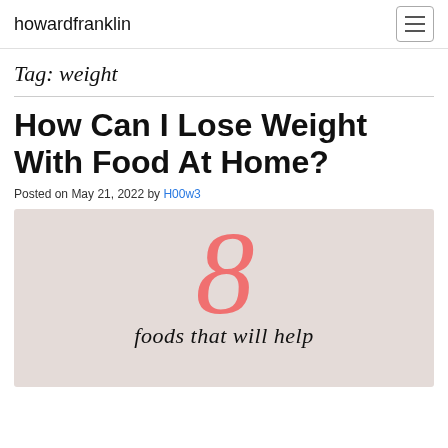howardfranklin
Tag: weight
How Can I Lose Weight With Food At Home?
Posted on May 21, 2022 by H00w3
[Figure (illustration): An infographic image showing a large pink/coral number '8' and partial text 'foods that will help' on a light beige/gray background]